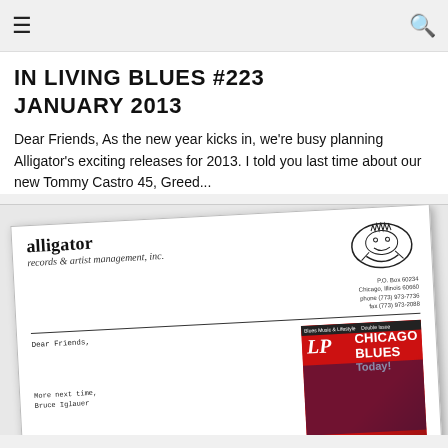≡   🔍
IN LIVING BLUES #223 JANUARY 2013
Dear Friends, As the new year kicks in, we're busy planning Alligator's exciting releases for 2013. I told you last time about our new Tommy Castro 45, Greed...
[Figure (photo): Scanned/photographed Alligator Records letterhead document shown at an angle, featuring the Alligator Records logo, company name 'alligator records & artist management, inc.', a Dear Friends salutation in typewriter font, and a magazine cover for 'LP Chicago Blues Today!' in red.]